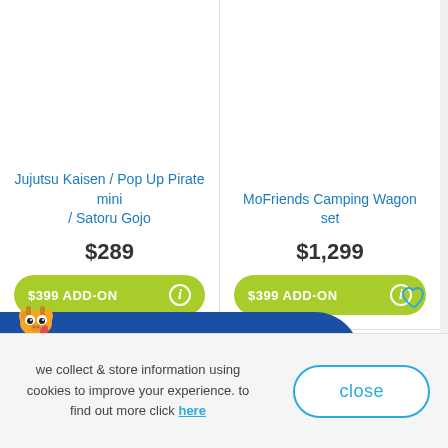Jujutsu Kaisen / Pop Up Pirate mini / Satoru Gojo
$289
$399 ADD-ON
MoFriends Camping Wagon set
$1,299
$399 ADD-ON
[Figure (illustration): Giraffe mascot with hello banner showing 'hello! 想看中文?' on a blue oval background]
we collect & store information using cookies to improve your experience. to find out more click here